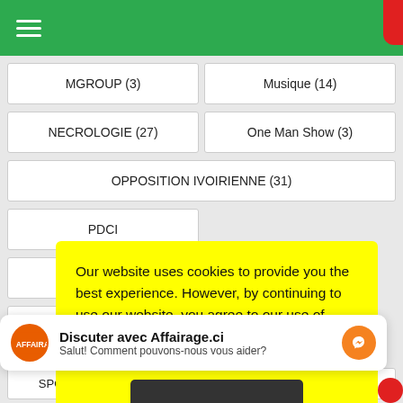☰ (hamburger menu)
MGROUP (3)
Musique (14)
NECROLOGIE (27)
One Man Show (3)
OPPOSITION IVOIRIENNE (31)
PDCI
POLIC
PRESIDE
RHD
Our website uses cookies to provide you the best experience. However, by continuing to use our website, you agree to our use of cookies. For more information, read our Cookie Policy.
Discuter avec Affairage.ci
Salut! Comment pouvons-nous vous aider?
SPORT (16)
STAR (51)
VITALE (3)